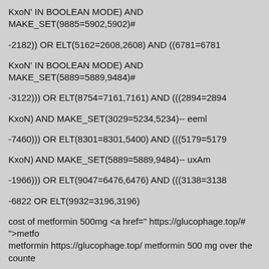KxoN' IN BOOLEAN MODE) AND MAKE_SET(9885=5902,5902)#
-2182)) OR ELT(5162=2608,2608) AND ((6781=6781
KxoN' IN BOOLEAN MODE) AND MAKE_SET(5889=5889,9484)#
-3122))) OR ELT(8754=7161,7161) AND (((2894=2894
KxoN) AND MAKE_SET(3029=5234,5234)-- eeml
-7460))) OR ELT(8301=8301,5400) AND (((5179=5179
KxoN) AND MAKE_SET(5889=5889,9484)-- uxAm
-1966))) OR ELT(9047=6476,6476) AND (((3138=3138
-6822 OR ELT(9932=3196,3196)
cost of metformin 500mg <a href=" https://glucophage.top/# ">metfo metformin https://glucophage.top/ metformin 500 mg over the counte
metformin 50 mg <a href=" https://glucophage.top/# ">canadian met https://glucophage.top/ buy metformin online no prescription
metformin medicine in india <a href=" https://glucophage.top/# ">me 500 mg metformin purchase https://glucophage.top/ where can i ge